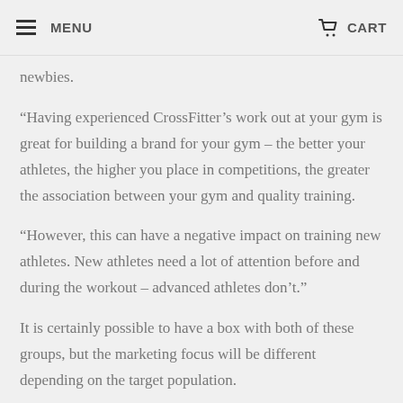MENU | CART
newbies.
“Having experienced CrossFitter’s work out at your gym is great for building a brand for your gym – the better your athletes, the higher you place in competitions, the greater the association between your gym and quality training.
“However, this can have a negative impact on training new athletes. New athletes need a lot of attention before and during the workout – advanced athletes don’t.”
It is certainly possible to have a box with both of these groups, but the marketing focus will be different depending on the target population.